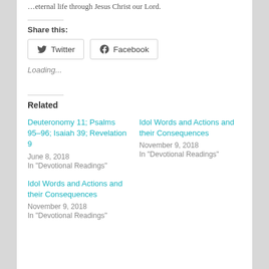…eternal life through Jesus Christ our Lord.
Share this:
Twitter
Facebook
Loading...
Related
Deuteronomy 11; Psalms 95–96; Isaiah 39; Revelation 9
June 8, 2018
In "Devotional Readings"
Idol Words and Actions and their Consequences
November 9, 2018
In "Devotional Readings"
Idol Words and Actions and their Consequences
November 9, 2018
In "Devotional Readings"